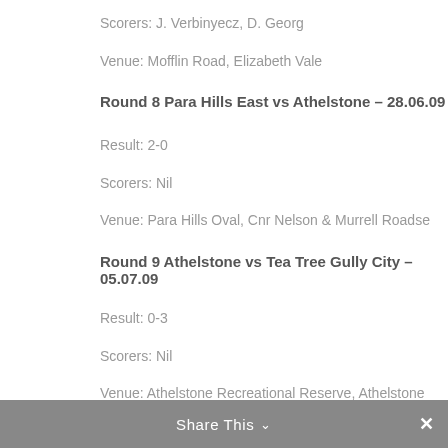Scorers: J. Verbinyecz, D. Georg
Venue: Mofflin Road, Elizabeth Vale
Round 8 Para Hills East vs Athelstone – 28.06.09
Result: 2-0
Scorers: Nil
Venue: Para Hills Oval, Cnr Nelson & Murrell Roadse
Round 9 Athelstone vs Tea Tree Gully City – 05.07.09
Result: 0-3
Scorers: Nil
Venue: Athelstone Recreational Reserve, Athelstone
Round 10 Athelstone vs Elizabeth Grove – 17.07.09
Share This